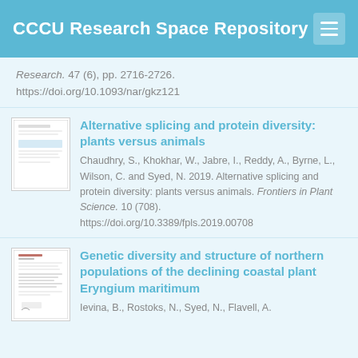CCCU Research Space Repository
Research. 47 (6), pp. 2716-2726. https://doi.org/10.1093/nar/gkz121
[Figure (other): Thumbnail of document page for 'Alternative splicing and protein diversity: plants versus animals']
Alternative splicing and protein diversity: plants versus animals
Chaudhry, S., Khokhar, W., Jabre, I., Reddy, A., Byrne, L., Wilson, C. and Syed, N. 2019. Alternative splicing and protein diversity: plants versus animals. Frontiers in Plant Science. 10 (708). https://doi.org/10.3389/fpls.2019.00708
[Figure (other): Thumbnail of document page for 'Genetic diversity and structure of northern populations of the declining coastal plant Eryngium maritimum']
Genetic diversity and structure of northern populations of the declining coastal plant Eryngium maritimum
Ievina, B., Rostoks, N., Syed, N., Flavell, A.